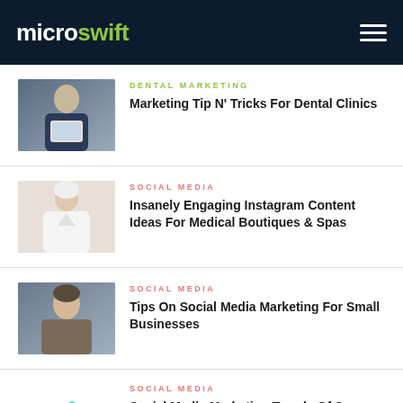microswift
DENTAL MARKETING | Marketing Tip N' Tricks For Dental Clinics
SOCIAL MEDIA | Insanely Engaging Instagram Content Ideas For Medical Boutiques & Spas
SOCIAL MEDIA | Tips On Social Media Marketing For Small Businesses
SOCIAL MEDIA | Social Media Marketing Trends Of Summer '21